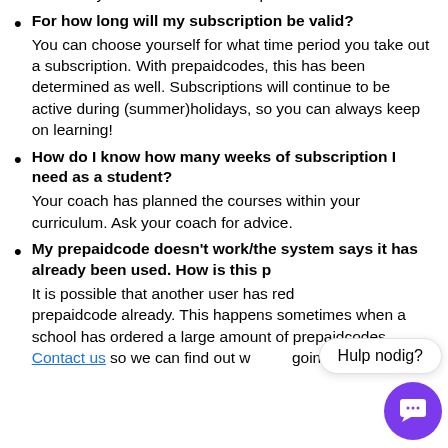active. Your new subscription will only be activated as soon as your current one has expired.
For how long will my subscription be valid?
You can choose yourself for what time period you take out a subscription. With prepaidcodes, this has been determined as well. Subscriptions will continue to be active during (summer)holidays, so you can always keep on learning!
How do I know how many weeks of subscription I need as a student?
Your coach has planned the courses within your curriculum. Ask your coach for advice.
My prepaidcode doesn't work/the system says it has already been used. How is this possible?
It is possible that another user has redeemed your prepaidcode already. This happens sometimes when a school has ordered a large amount of prepaidcodes. Contact us so we can find out what is going on!